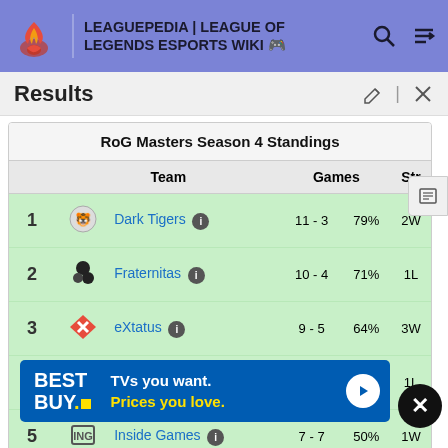LEAGUEPEDIA | LEAGUE OF LEGENDS ESPORTS WIKI
Results
|  | Team | Games |  | Str |
| --- | --- | --- | --- | --- |
| 1 | Dark Tigers | 11 - 3 | 79% | 2W |
| 2 | Fraternitas | 10 - 4 | 71% | 1L |
| 3 | eXtatus | 9 - 5 | 64% | 3W |
| 4 | eSuba | 9 - 5 | 64% | 1L |
| 5 | Inside Games | 7 - 7 | 50% | 1W |
| 6 | Cyborg Factory | 5 - 9 | 36% | 2L |
| 7 |  |  |  |  |
[Figure (infographic): Best Buy advertisement banner: 'TVs you want. Prices you love.']